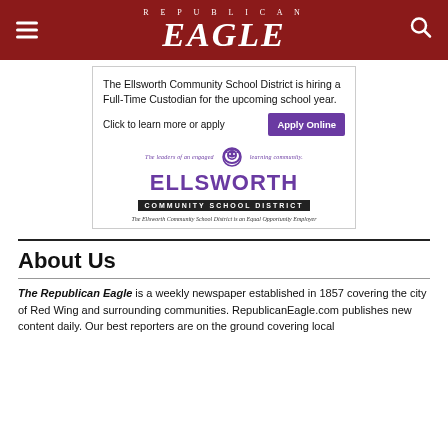REPUBLICAN EAGLE
[Figure (advertisement): Ellsworth Community School District job advertisement for Full-Time Custodian. Includes 'Apply Online' button, Ellsworth Community School District logo with lion mascot, tagline 'The leaders of an engaged learning community.' and Equal Opportunity Employer notice.]
About Us
The Republican Eagle is a weekly newspaper established in 1857 covering the city of Red Wing and surrounding communities. RepublicanEagle.com publishes new content daily. Our best reporters are on the ground covering local